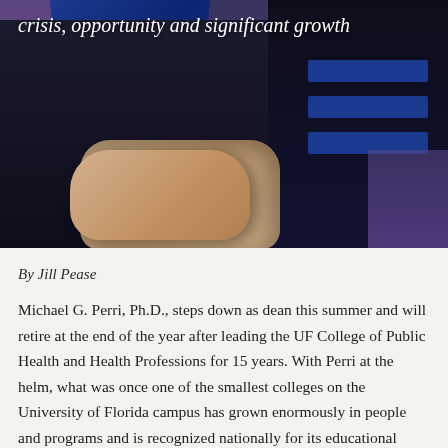[Figure (photo): A person wearing a black academic graduation gown with royal blue velvet hood and sleeve stripes, hands clasped together, against a blurred purple/blue background. Partial torso view.]
crisis, opportunity and significant growth
By Jill Pease
Michael G. Perri, Ph.D., steps down as dean this summer and will retire at the end of the year after leading the UF College of Public Health and Health Professions for 15 years. With Perri at the helm, what was once one of the smallest colleges on the University of Florida campus has grown enormously in people and programs and is recognized nationally for its educational